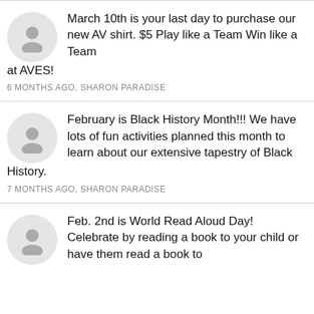March 10th is your last day to purchase our new AV shirt. $5 Play like a Team Win like a Team at AVES!
6 MONTHS AGO, SHARON PARADISE
February is Black History Month!!! We have lots of fun activities planned this month to learn about our extensive tapestry of Black History.
7 MONTHS AGO, SHARON PARADISE
Feb. 2nd is World Read Aloud Day! Celebrate by reading a book to your child or have them read a book to